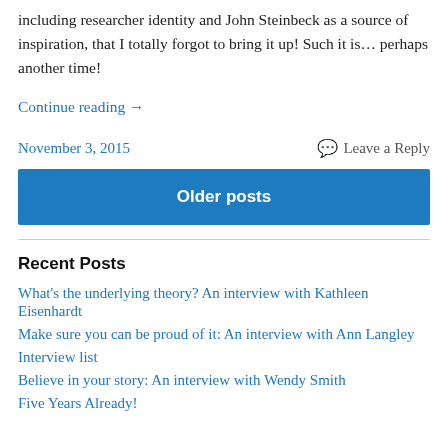including researcher identity and John Steinbeck as a source of inspiration, that I totally forgot to bring it up! Such it is… perhaps another time!
Continue reading →
November 3, 2015
Leave a Reply
Older posts
Recent Posts
What's the underlying theory?  An interview with Kathleen Eisenhardt
Make sure you can be proud of it: An interview with Ann Langley
Interview list
Believe in your story: An interview with Wendy Smith
Five Years Already!